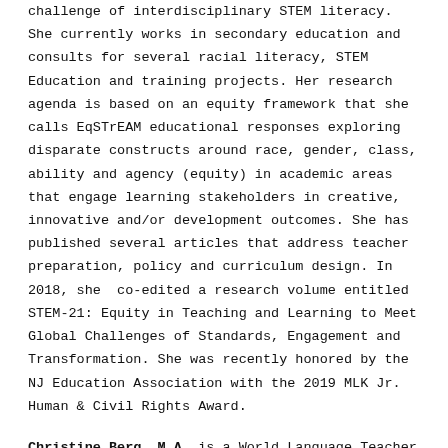challenge of interdisciplinary STEM literacy. She currently works in secondary education and consults for several racial literacy, STEM Education and training projects. Her research agenda is based on an equity framework that she calls EqSTrEAM educational responses exploring disparate constructs around race, gender, class, ability and agency (equity) in academic areas that engage learning stakeholders in creative, innovative and/or development outcomes. She has published several articles that address teacher preparation, policy and curriculum design. In 2018, she co-edited a research volume entitled STEM-21: Equity in Teaching and Learning to Meet Global Challenges of Standards, Engagement and Transformation. She was recently honored by the NJ Education Association with the 2019 MLK Jr. Human & Civil Rights Award.
Christine Berg, M.A. is a World Language Teacher with